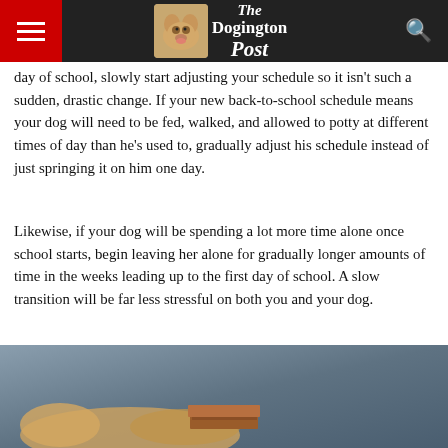The Dogington Post
day of school, slowly start adjusting your schedule so it isn't such a sudden, drastic change. If your new back-to-school schedule means your dog will need to be fed, walked, and allowed to potty at different times of day than he's used to, gradually adjust his schedule instead of just springing it on him one day.
Likewise, if your dog will be spending a lot more time alone once school starts, begin leaving her alone for gradually longer amounts of time in the weeks leading up to the first day of school. A slow transition will be far less stressful on both you and your dog.
[Figure (photo): A dog lying next to a book on a blue-grey background, viewed from the side]